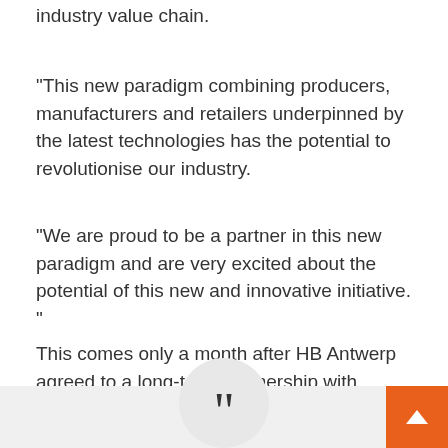industry value chain.
“This new paradigm combining producers, manufacturers and retailers underpinned by the latest technologies has the potential to revolutionise our industry.
“We are proud to be a partner in this new paradigm and are very excited about the potential of this new and innovative initiative.”
This comes only a month after HB Antwerp agreed to a long-term partnership with Lucara Diamonds. Read more below:
[Figure (other): Bottom bar with a large quotation mark (”) in a circle centered on a light gray background, and an orange square button with white upward arrow in the bottom-right corner.]